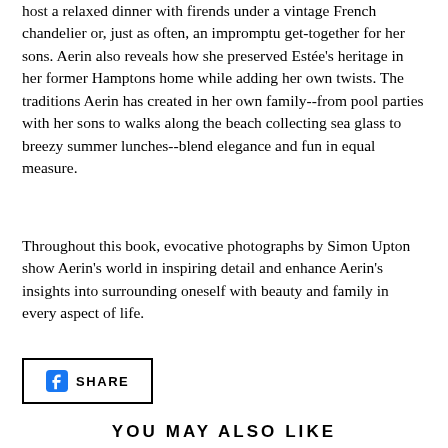host a relaxed dinner with firends under a vintage French chandelier or, just as often, an impromptu get-together for her sons. Aerin also reveals how she preserved Estée's heritage in her former Hamptons home while adding her own twists. The traditions Aerin has created in her own family--from pool parties with her sons to walks along the beach collecting sea glass to breezy summer lunches--blend elegance and fun in equal measure.
Throughout this book, evocative photographs by Simon Upton show Aerin's world in inspiring detail and enhance Aerin's insights into surrounding oneself with beauty and family in every aspect of life.
[Figure (other): Facebook Share button with the Facebook logo icon and the text SHARE in bold uppercase letters, enclosed in a rectangular border]
YOU MAY ALSO LIKE